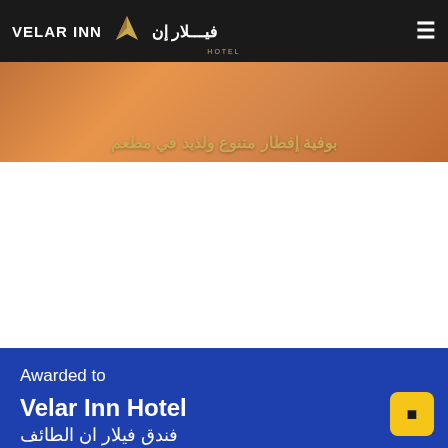VELAR INN | فيلار إن | HOTEL
[Figure (photo): Banner with food/pastry image and Arabic text overlay reading: بوفية إفطار متنوع ولذيذ في مطعم]
Awarded to
Velar Inn Hotel
فندق فيلار ان الطائف